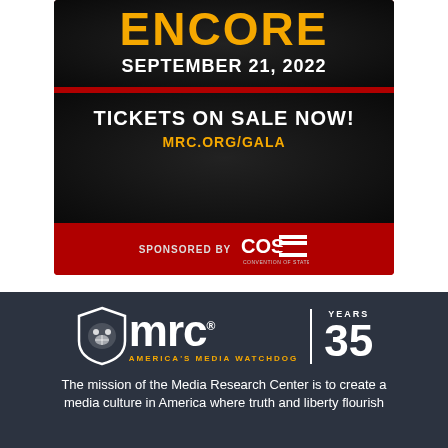[Figure (infographic): Event poster on red/black background. Top section shows 'ENCORE' in large orange text, 'SEPTEMBER 21, 2022' in white below. Bottom section shows 'TICKETS ON SALE NOW!' in white and 'MRC.ORG/GALA' in orange. Bottom red band shows 'SPONSORED BY' with COS (Convention of States) logo.]
[Figure (logo): MRC (Media Research Center) logo with bulldog shield icon, 'mrc' text, tagline 'AMERICA'S MEDIA WATCHDOG', and '35 YEARS' anniversary mark, on dark background.]
The mission of the Media Research Center is to create a media culture in America where truth and liberty flourish